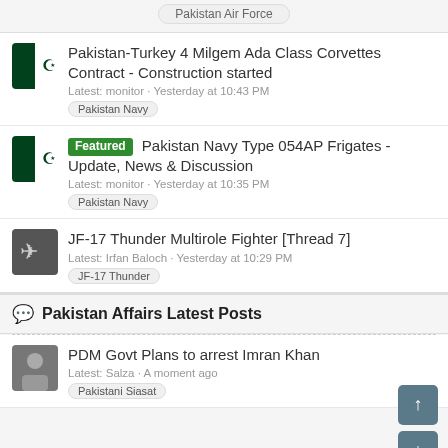Pakistan Air Force
Pakistan-Turkey 4 Milgem Ada Class Corvettes Contract - Construction started
Latest: monitor · Yesterday at 10:43 PM
Pakistan Navy
Featured Pakistan Navy Type 054AP Frigates - Update, News & Discussion
Latest: monitor · Yesterday at 10:35 PM
Pakistan Navy
JF-17 Thunder Multirole Fighter [Thread 7]
Latest: Irfan Baloch · Yesterday at 10:29 PM
JF-17 Thunder
Pakistan Affairs Latest Posts
PDM Govt Plans to arrest Imran Khan
Latest: Salza · A moment ago
Pakistani Siasat